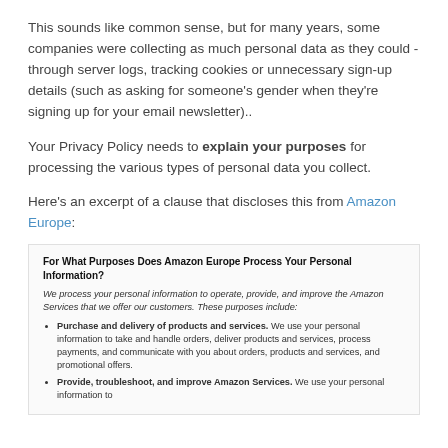This sounds like common sense, but for many years, some companies were collecting as much personal data as they could - through server logs, tracking cookies or unnecessary sign-up details (such as asking for someone's gender when they're signing up for your email newsletter)..
Your Privacy Policy needs to explain your purposes for processing the various types of personal data you collect.
Here's an excerpt of a clause that discloses this from Amazon Europe:
For What Purposes Does Amazon Europe Process Your Personal Information?
We process your personal information to operate, provide, and improve the Amazon Services that we offer our customers. These purposes include:
• Purchase and delivery of products and services. We use your personal information to take and handle orders, deliver products and services, process payments, and communicate with you about orders, products and services, and promotional offers.
• Provide, troubleshoot, and improve Amazon Services. We use your personal information to